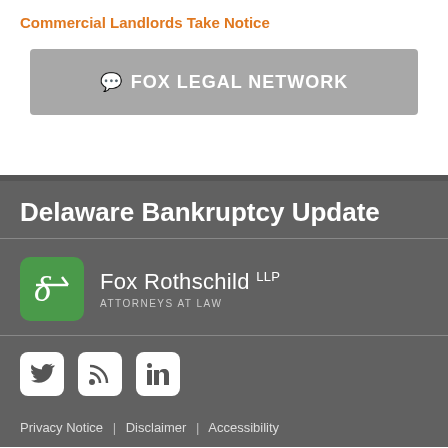Commercial Landlords Take Notice
[Figure (other): Fox Legal Network button with chat icon]
Delaware Bankruptcy Update
[Figure (logo): Fox Rothschild LLP Attorneys at Law logo with green rounded square icon]
[Figure (other): Social media icons: Twitter, RSS, LinkedIn]
Privacy Notice | Disclaimer | Accessibility